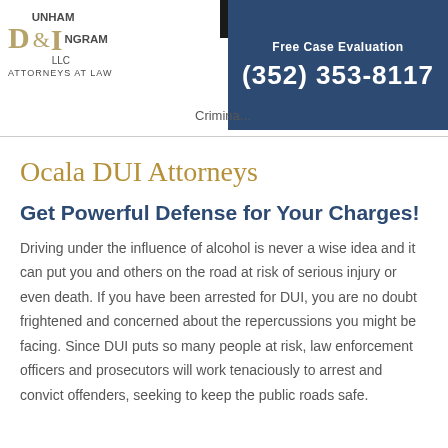[Figure (logo): Dunham & Ingram LLC Attorneys at Law logo with golden D and I letters]
[Figure (screenshot): Dark blue box with Free Case Evaluation text and phone number (352) 353-8117]
Ocala DUI Attorneys
Get Powerful Defense for Your Charges!
Driving under the influence of alcohol is never a wise idea and it can put you and others on the road at risk of serious injury or even death. If you have been arrested for DUI, you are no doubt frightened and concerned about the repercussions you might be facing. Since DUI puts so many people at risk, law enforcement officers and prosecutors will work tenaciously to arrest and convict offenders, seeking to keep the public roads safe.